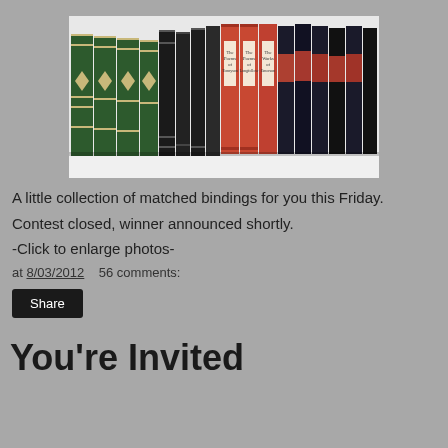[Figure (photo): A row of matched binding books on a shelf — green, black, red/orange, and dark navy spines arranged side by side.]
A little collection of matched bindings for you this Friday.
Contest closed, winner announced shortly.
-Click to enlarge photos-
at 8/03/2012   56 comments:
Share
You're Invited